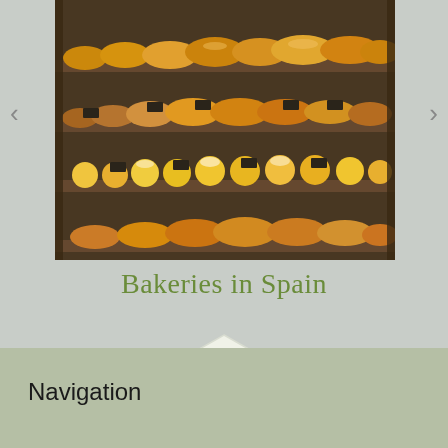[Figure (photo): Bakery display shelves with pastries, breads, and baked goods in a well-lit store]
Bakeries in Spain
[Figure (infographic): Three hexagon shapes arranged in a honeycomb pattern on a light grey background]
[Figure (infographic): Carousel pagination dots: 13 dots, first one active/green, rest grey]
Navigation